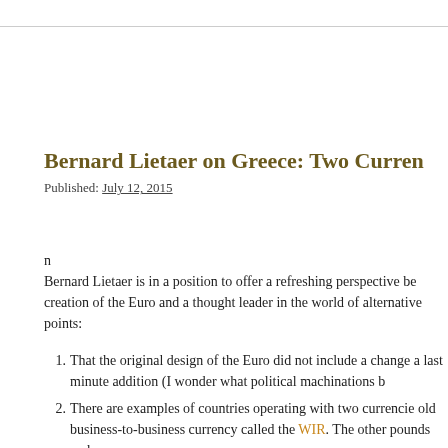Bernard Lietaer on Greece: Two Curren
Published: July 12, 2015
n
Bernard Lietaer is in a position to offer a refreshing perspective be creation of the Euro and a thought leader in the world of alternative points:
That the original design of the Euro did not include a change a last minute addition (I wonder what political machinations b
There are examples of countries operating with two currencie old business-to-business currency called the WIR. The other pounds and euros.